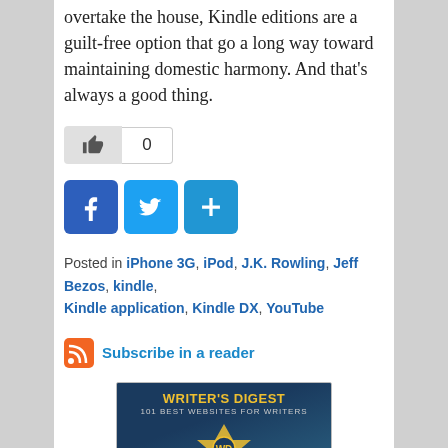overtake the house, Kindle editions are a guilt-free option that go a long way toward maintaining domestic harmony. And that's always a good thing.
[Figure (other): Like button with thumbs-up icon and count of 0]
[Figure (other): Social share buttons: Facebook, Twitter, and Add/More]
Posted in iPhone 3G, iPod, J.K. Rowling, Jeff Bezos, kindle, Kindle application, Kindle DX, YouTube
Subscribe in a reader
[Figure (other): Writer's Digest 101 Best Websites for Writers badge/banner]